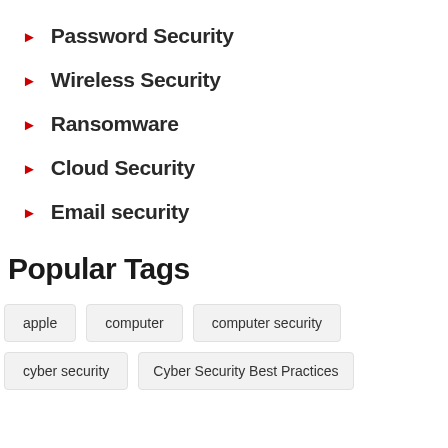Password Security
Wireless Security
Ransomware
Cloud Security
Email security
Popular Tags
apple  computer  computer security  cyber security  Cyber Security Best Practices